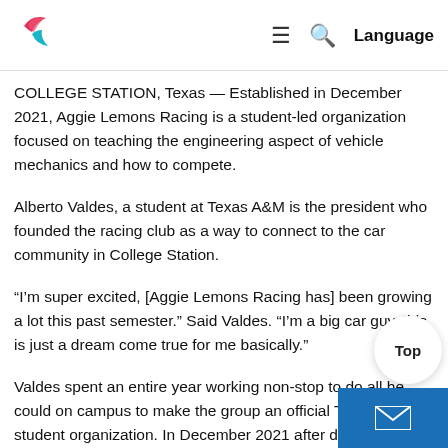Logo | ≡ 🔍 Language
COLLEGE STATION, Texas — Established in December 2021, Aggie Lemons Racing is a student-led organization focused on teaching the engineering aspect of vehicle mechanics and how to compete.
Alberto Valdes, a student at Texas A&M is the president who founded the racing club as a way to connect to the car community in College Station.
“I’m super excited, [Aggie Lemons Racing has] been growing a lot this past semester.” Said Valdes. “I’m a big car guy, this is just a dream come true for me basically.”
Valdes spent an entire year working non-stop to do all he could on campus to make the group an official Texas A&M student organization. In December 2021 after documents and safety contracts were approved by the University, Aggie Lemons Racing became an official student organization on campus.